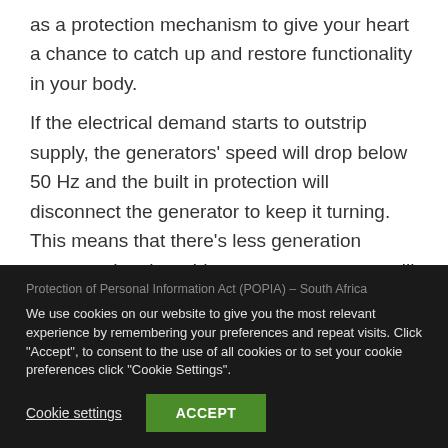as a protection mechanism to give your heart a chance to catch up and restore functionality in your body.

If the electrical demand starts to outstrip supply, the generators' speed will drop below 50 Hz and the built in protection will disconnect the generator to keep it turning. This means that there's less generation connected to the grid, so more generators will
Protection of Personal Information Act (POPIA) – South Africa
We use cookies on our website to give you the most relevant experience by remembering your preferences and repeat visits. Click "Accept", to consent to the use of all cookies or to set your cookie preferences click "Cookie Settings".
Cookie settings   ACCEPT